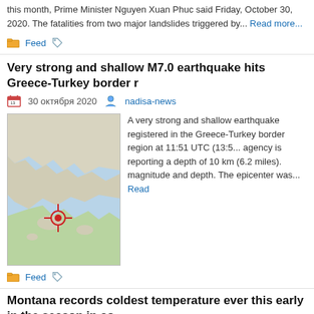this month, Prime Minister Nguyen Xuan Phuc said Friday, October 30, 2020. The fatalities from two major landslides triggered by... Read more...
Feed
Very strong and shallow M7.0 earthquake hits Greece-Turkey border r
30 октября 2020   nadisa-news
[Figure (map): Map showing Greece-Turkey border region with a red marker indicating earthquake epicenter near the Aegean Sea coast]
A very strong and shallow earthquake registered in the Greece-Turkey border region at 11:51 UTC (13:5... agency is reporting a depth of 10 km (6.2 miles). magnitude and depth. The epicenter was... Read
Feed
Montana records coldest temperature ever this early in the season in co
29 октября 2020   nadisa-news
The station in Potomac, Montana reported a temperature of &#151; 33 °C ( &#15 October 25, 2020-- the coldest ever temperature in the contiguous U.S. this early Weather Service (NWS) confirmed. "It's... Read more...